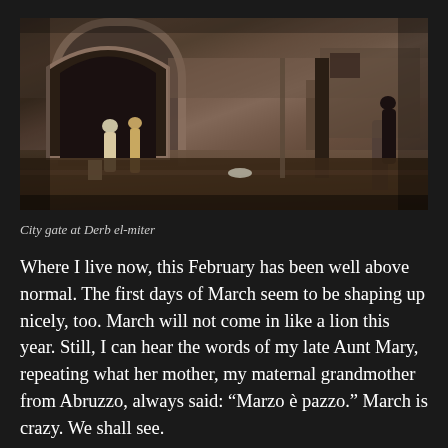[Figure (photo): A rainy street scene at a city gate in a Moroccan medina. People in robes/djellabas are visible near an arched stone gate. The wet cobblestone ground reflects light. A tree trunk is visible in the right portion of the image.]
City gate at Derb el-miter
Where I live now, this February has been well above normal. The first days of March seem to be shaping up nicely, too. March will not come in like a lion this year. Still, I can hear the words of my late Aunt Mary, repeating what her mother, my maternal grandmother from Abruzzo, always said: “Marzo è pazzo.” March is crazy. We shall see.